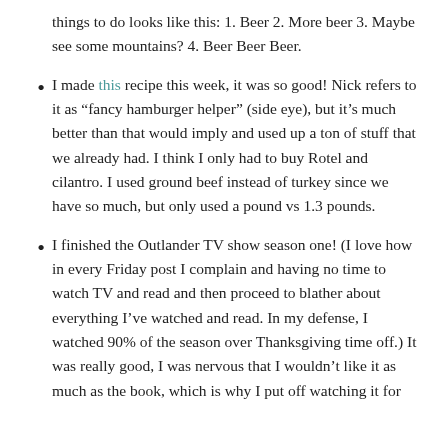things to do looks like this: 1. Beer 2. More beer 3. Maybe see some mountains? 4. Beer Beer Beer.
I made this recipe this week, it was so good!  Nick refers to it as “fancy hamburger helper” (side eye), but it’s much better than that would imply and used up a ton of stuff that we already had.  I think I only had to buy Rotel and cilantro.  I used ground beef instead of turkey since we have so much, but only used a pound vs 1.3 pounds.
I finished the Outlander TV show season one! (I love how in every Friday post I complain and having no time to watch TV and read and then proceed to blather about everything I’ve watched and read.  In my defense, I watched 90% of the season over Thanksgiving time off.)  It was really good, I was nervous that I wouldn’t like it as much as the book, which is why I put off watching it for